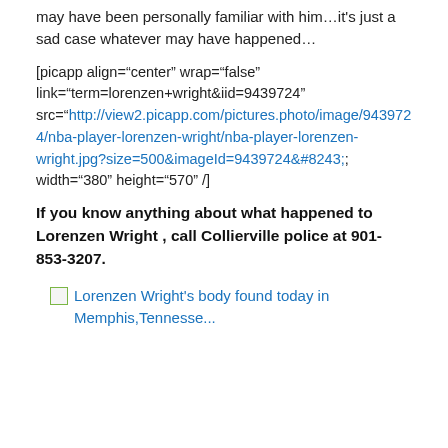may have been personally familiar with him…it's just a sad case whatever may have happened…
[picapp align="center" wrap="false" link="term=lorenzen+wright&iid=9439724" src="http://view2.picapp.com/pictures.photo/image/9439724/nba-player-lorenzen-wright/nba-player-lorenzen-wright.jpg?size=500&imageId=9439724&#8243; width="380" height="570" /]
If you know anything about what happened to Lorenzen Wright , call Collierville police at 901-853-3207.
[Figure (other): Broken image icon with link text: Lorenzen Wright's body found today in Memphis, Tennesse...]